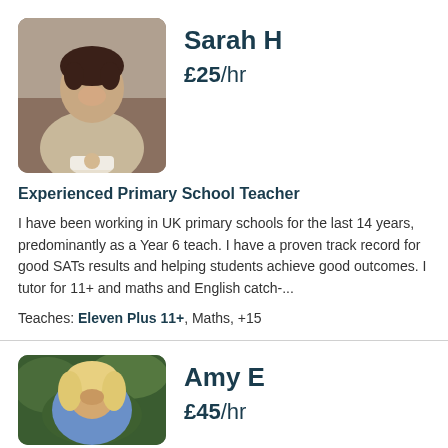[Figure (photo): Profile photo of Sarah H, a woman with short dark hair smiling, holding a coffee cup in a café setting]
Sarah H
£25/hr
Experienced Primary School Teacher
I have been working in UK primary schools for the last 14 years, predominantly as a Year 6 teach. I have a proven track record for good SATs results and helping students achieve good outcomes. I tutor for 11+ and maths and English catch-...
Teaches: Eleven Plus 11+, Maths, +15
[Figure (photo): Profile photo of Amy E, a woman with long blonde hair outdoors with green foliage background]
Amy E
£45/hr